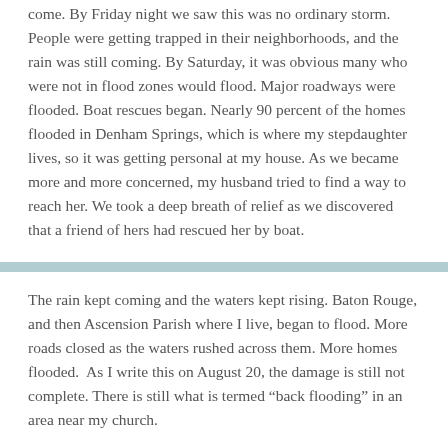come. By Friday night we saw this was no ordinary storm. People were getting trapped in their neighborhoods, and the rain was still coming. By Saturday, it was obvious many who were not in flood zones would flood. Major roadways were flooded. Boat rescues began. Nearly 90 percent of the homes flooded in Denham Springs, which is where my stepdaughter lives, so it was getting personal at my house. As we became more and more concerned, my husband tried to find a way to reach her. We took a deep breath of relief as we discovered that a friend of hers had rescued her by boat.
The rain kept coming and the waters kept rising. Baton Rouge, and then Ascension Parish where I live, began to flood. More roads closed as the waters rushed across them. More homes flooded. As I write this on August 20, the damage is still not complete. There is still what is termed “back flooding” in an area near my church.